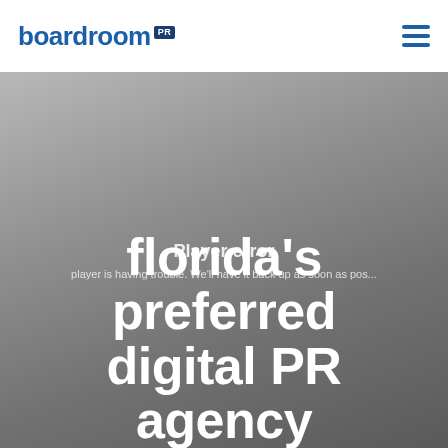[Figure (logo): Boardroom PR logo — blue text 'boardroom' with 'PR' badge in dark navy]
[Figure (other): Hamburger menu icon with three horizontal blue lines]
[Figure (photo): Hero section with gray gradient background showing text: florida's preferred digital PR agency. Overlaid with a video player error message: 'Player error — player is having trouble. We'll have it back up as soon as pos...']
florida's preferred digital PR agency
Player error
player is having trouble. We'll have it back up as soon as pos...